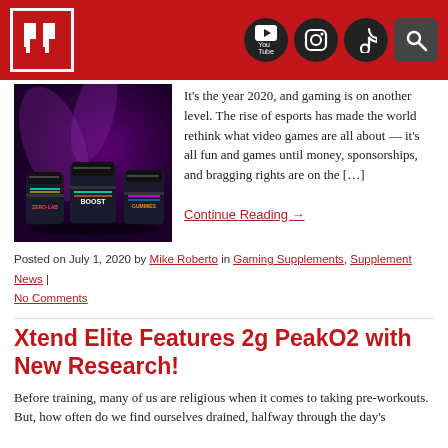PricePlow header with logo and social icons (YouTube, Instagram, TikTok, Search)
It's the year 2020, and gaming is on another level. The rise of esports has made the world rethink what video games are all about — it's all fun and games until money, sponsorships, and bragging rights are on the […]
Continue Reading →
Posted on July 1, 2020 by Mike Roberto in Gaming Supplements, Supplement News | No Comments
Xtend Elite Features 2g PeakO2 with New Research!
Before training, many of us are religious when it comes to taking pre-workouts. But, how often do we find ourselves drained, halfway through the day's